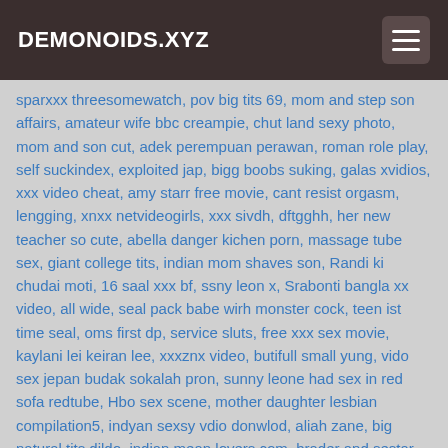DEMONOIDS.XYZ
sparxxx threesomewatch, pov big tits 69, mom and step son affairs, amateur wife bbc creampie, chut land sexy photo, mom and son cut, adek perempuan perawan, roman role play, self suckindex, exploited jap, bigg boobs suking, galas xvidios, xxx video cheat, amy starr free movie, cant resist orgasm, lengging, xnxx netvideogirls, xxx sivdh, dftgghh, her new teacher so cute, abella danger kichen porn, massage tube sex, giant college tits, indian mom shaves son, Randi ki chudai moti, 16 saal xxx bf, ssny leon x, Srabonti bangla xx video, all wide, seal pack babe wirh monster cock, teen ist time seal, oms first dp, service sluts, free xxx sex movie, kaylani lei keiran lee, xxxznx video, butifull small yung, vido sex jepan budak sokalah pron, sunny leone had sex in red sofa redtube, Hbo sex scene, mother daughter lesbian compilation5, indyan sexsy vdio donwlod, aliah zane, big natural tits dildo, indian mean lovers com, brader and sestar, tamil